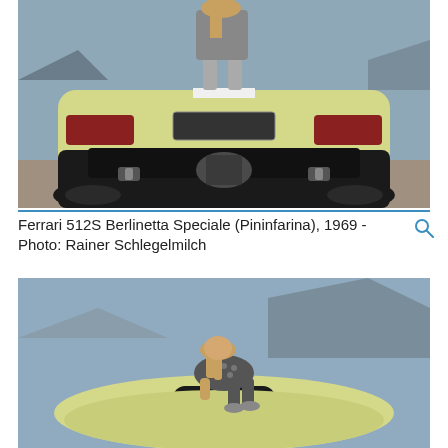[Figure (photo): Rear view of a yellow Ferrari 512S Berlinetta Speciale with a woman in a patterned outfit standing/crouching on top of the car, shot from behind on a rocky outdoor location. The car's twin exhausts and rear taillights are visible.]
Ferrari 512S Berlinetta Speciale (Pininfarina), 1969 - Photo: Rainer Schlegelmilch
[Figure (photo): Side/top view of the same yellow Ferrari 512S Berlinetta Speciale with a woman in a patterned outfit crouching on top of the car's roof, photographed outdoors with mountains in the background.]